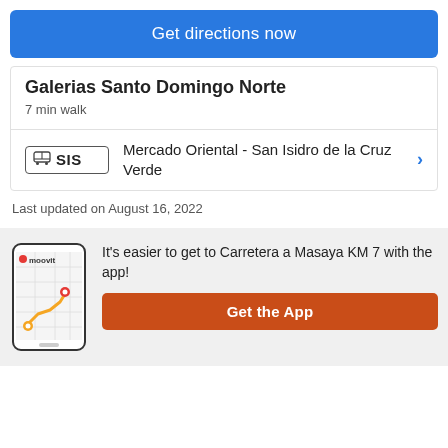Get directions now
Galerias Santo Domingo Norte
7 min walk
SIS  Mercado Oriental - San Isidro de la Cruz Verde
Last updated on August 16, 2022
[Figure (screenshot): Moovit app phone mockup showing a transit route map with orange path and location pins]
It's easier to get to Carretera a Masaya KM 7 with the app!
Get the App